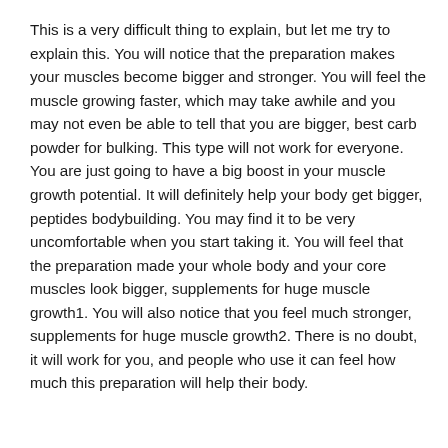This is a very difficult thing to explain, but let me try to explain this. You will notice that the preparation makes your muscles become bigger and stronger. You will feel the muscle growing faster, which may take awhile and you may not even be able to tell that you are bigger, best carb powder for bulking. This type will not work for everyone. You are just going to have a big boost in your muscle growth potential. It will definitely help your body get bigger, peptides bodybuilding. You may find it to be very uncomfortable when you start taking it. You will feel that the preparation made your whole body and your core muscles look bigger, supplements for huge muscle growth1. You will also notice that you feel much stronger, supplements for huge muscle growth2. There is no doubt, it will work for you, and people who use it can feel how much this preparation will help their body.